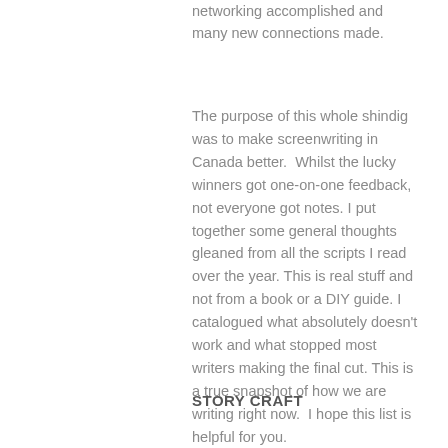networking accomplished and many new connections made.
The purpose of this whole shindig was to make screenwriting in Canada better.  Whilst the lucky winners got one-on-one feedback, not everyone got notes. I put together some general thoughts gleaned from all the scripts I read over the year. This is real stuff and not from a book or a DIY guide. I catalogued what absolutely doesn't work and what stopped most writers making the final cut. This is a true snapshot of how we are writing right now.  I hope this list is helpful for you.
STORY CRAFT